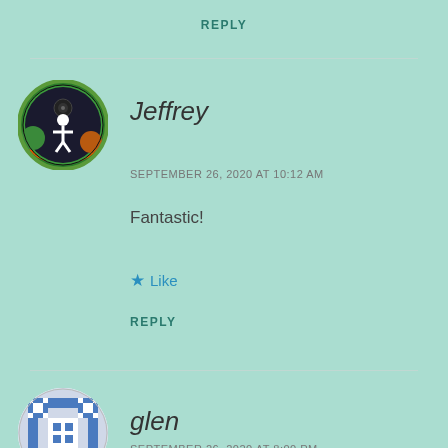REPLY
[Figure (illustration): Jeffrey's avatar: circular icon with a white human figure on a green/orange cosmic background with planetary/space elements]
Jeffrey
SEPTEMBER 26, 2020 AT 10:12 AM
Fantastic!
★ Like
REPLY
[Figure (illustration): glen's avatar: circular icon with a blue and white quilt/tile pattern]
glen
SEPTEMBER 26, 2020 AT 8:00 PM